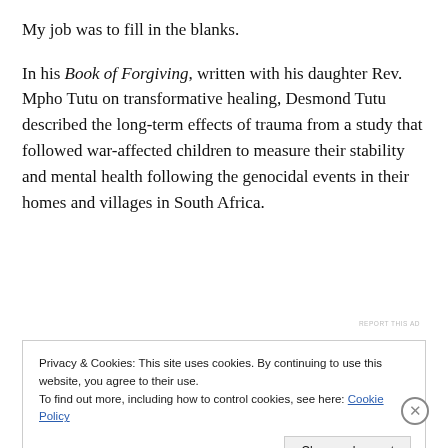My job was to fill in the blanks.
In his Book of Forgiving, written with his daughter Rev. Mpho Tutu on transformative healing, Desmond Tutu described the long-term effects of trauma from a study that followed war-affected children to measure their stability and mental health following the genocidal events in their homes and villages in South Africa.
REPORT THIS AD
Privacy & Cookies: This site uses cookies. By continuing to use this website, you agree to their use.
To find out more, including how to control cookies, see here: Cookie Policy
Close and accept